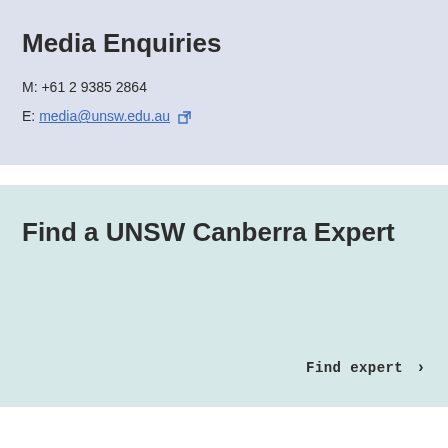Media Enquiries
M: +61 2 9385 2864
E: media@unsw.edu.au
Find a UNSW Canberra Expert
Find expert >